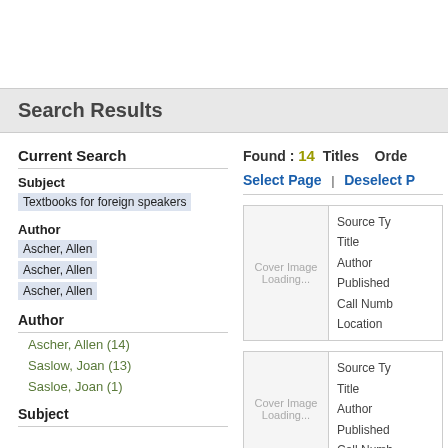Search Results
Current Search
Subject
Textbooks for foreign speakers
Author
Ascher, Allen
Ascher, Allen
Ascher, Allen
Author
Ascher, Allen (14)
Saslow, Joan (13)
Sasloe, Joan (1)
Subject
Found : 14 Titles  Order
Select Page  |  Deselect P
[Figure (other): Cover Image Loading... placeholder with metadata labels: Source Ty, Title, Author, Published, Call Numb, Location]
[Figure (other): Cover Image Loading... placeholder with metadata labels: Source Ty, Title, Author, Published, Call Numb]